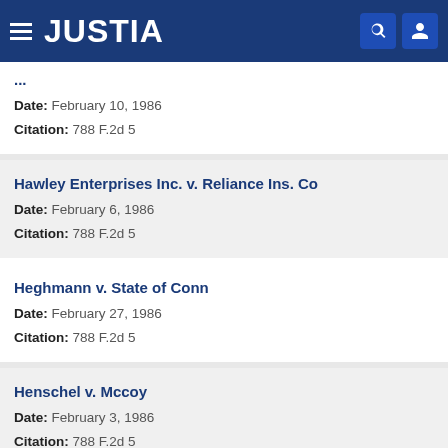JUSTIA
Date: February 10, 1986
Citation: 788 F.2d 5
Hawley Enterprises Inc. v. Reliance Ins. Co
Date: February 6, 1986
Citation: 788 F.2d 5
Heghmann v. State of Conn
Date: February 27, 1986
Citation: 788 F.2d 5
Henschel v. Mccoy
Date: February 3, 1986
Citation: 788 F.2d 5